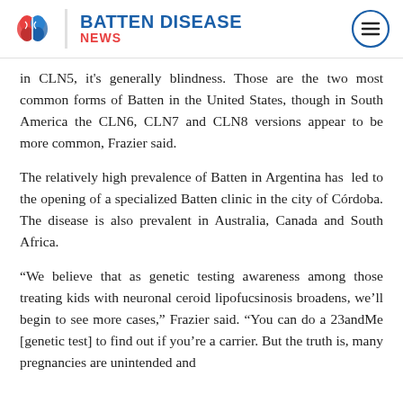BATTEN DISEASE NEWS
in CLN5, it's generally blindness. Those are the two most common forms of Batten in the United States, though in South America the CLN6, CLN7 and CLN8 versions appear to be more common, Frazier said.
The relatively high prevalence of Batten in Argentina has led to the opening of a specialized Batten clinic in the city of Córdoba. The disease is also prevalent in Australia, Canada and South Africa.
“We believe that as genetic testing awareness among those treating kids with neuronal ceroid lipofucsinosis broadens, we’ll begin to see more cases,” Frazier said. “You can do a 23andMe [genetic test] to find out if you’re a carrier. But the truth is, many pregnancies are unintended and